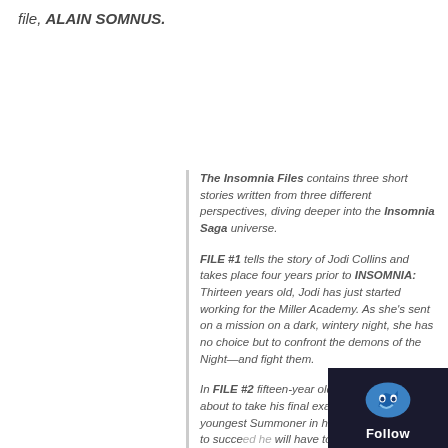file, ALAIN SOMNUS.
The Insomnia Files contains three short stories written from three different perspectives, diving deeper into the Insomnia Saga universe.
FILE #1 tells the story of Jodi Collins and takes place four years prior to INSOMNIA: Thirteen years old, Jodi has just started working for the Miller Academy. As she's sent on a mission on a dark, wintery night, she has no choice but to confront the demons of the Night—and fight them.
In FILE #2 fifteen-year old Kay Somnus is about to take his final exam to become the youngest Summoner in history.... but in order to succeed he will have to pretend—and believe—he is someone he's not, and forever deny himself his true po...